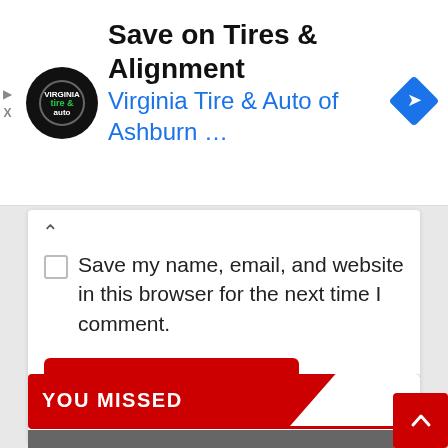[Figure (screenshot): Advertisement banner for Virginia Tire & Auto of Ashburn with logo, text and blue diamond arrow icon]
Save on Tires & Alignment
Virginia Tire & Auto of Ashburn …
Save my name, email, and website in this browser for the next time I comment.
Post Comment
YOU MISSED
[Figure (photo): Partial photo of a person wearing glasses at the bottom of the page]